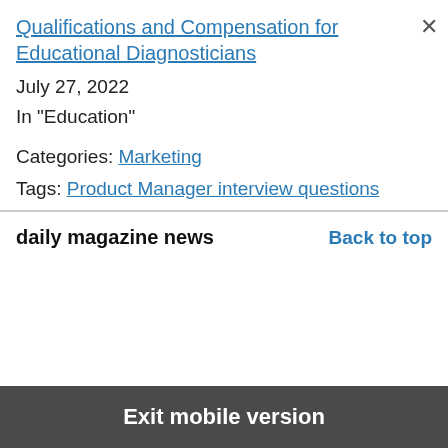Qualifications and Compensation for Educational Diagnosticians
July 27, 2022
In "Education"
Categories: Marketing
Tags: Product Manager interview questions
daily magazine news
Back to top
Exit mobile version